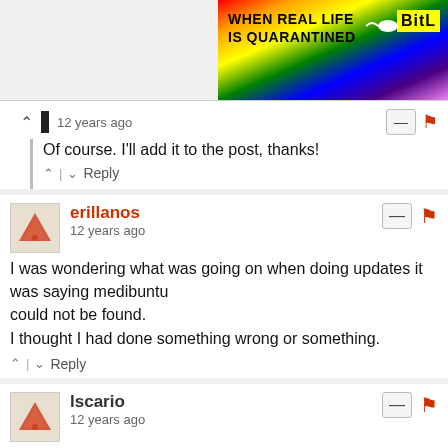[Figure (screenshot): Rainbow banner ad with text WHEN REAL LIFE IS QUARANTINED and BitL logo]
12 years ago
Of course. I'll add it to the post, thanks!
^ | v  Reply
erillanos
12 years ago
I was wondering what was going on when doing updates it was saying medibuntu
could not be found.
I thought I had done something wrong or something.
^ | v  Reply
lscario
12 years ago
It's sudo gedit /etc/apt/sources.list.d/medibuntu.list not sudo gedit /etc/apt/sources.list